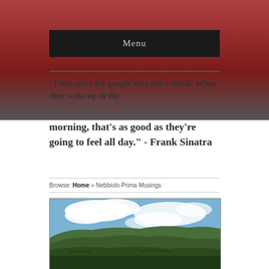Menu
"I feel sorry for people who don't drink. When they wake up in the morning, that's as good as they're going to feel all day." - Frank Sinatra
Browse: Home » Nebbiolo Prima Musings
[Figure (photo): Panoramic landscape photo showing rolling green hills under a partly cloudy blue sky]